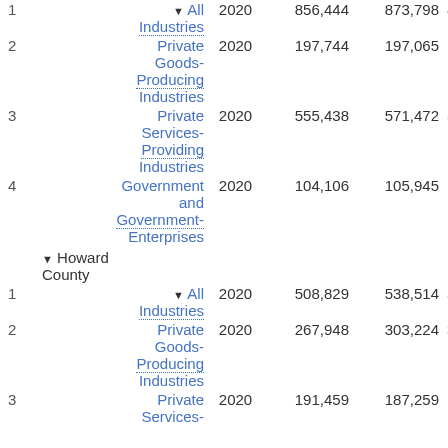| # | Industry | Year | Value1 | Value2 | Value3 |
| --- | --- | --- | --- | --- | --- |
| 1 | ▼ All Industries | 2020 | 856,444 | 873,798 | 8… |
| 2 | Private Goods-Producing Industries | 2020 | 197,744 | 197,065 | 1… |
| 3 | Private Services-Providing Industries | 2020 | 555,438 | 571,472 | 5… |
| 4 | Government and Government-Enterprises | 2020 | 104,106 | 105,945 | 1… |
|  | ▼ Howard County |  |  |  |  |
| 1 | ▼ All Industries | 2020 | 508,829 | 538,514 | 5… |
| 2 | Private Goods-Producing Industries | 2020 | 267,948 | 303,224 | 3… |
| 3 | Private Services-Providing Industries | 2020 | 191,459 | 187,259 | 1… |